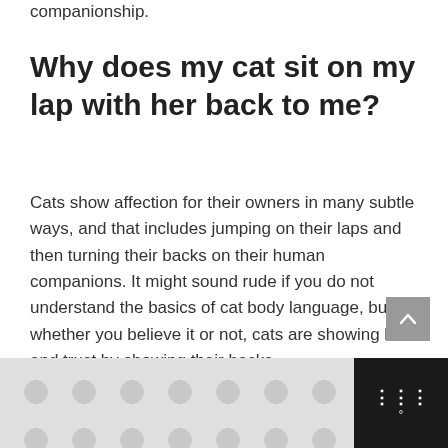companionship.
Why does my cat sit on my lap with her back to me?
Cats show affection for their owners in many subtle ways, and that includes jumping on their laps and then turning their backs on their human companions. It might sound rude if you do not understand the basics of cat body language, but whether you believe it or not, cats are showing love and trust by showing their backs.
[Figure (other): Advertisement banner with grey dot pattern background and dark sidebar with weather/temperature icon]